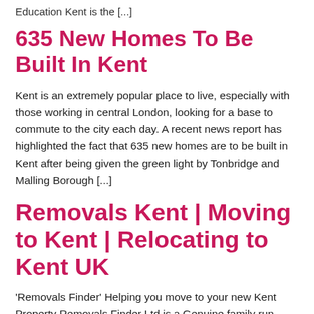Education Kent is the […]
635 New Homes To Be Built In Kent
Kent is an extremely popular place to live, especially with those working in central London, looking for a base to commute to the city each day. A recent news report has highlighted the fact that 635 new homes are to be built in Kent after being given the green light by Tonbridge and Malling Borough […]
Removals Kent | Moving to Kent | Relocating to Kent UK
'Removals Finder' Helping you move to your new Kent Property Removals Finder Ltd is a Genuine family run business with over 30 years experience in House & Office Removals…